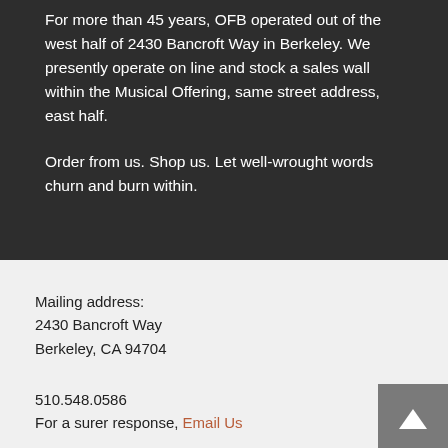For more than 45 years, OFB operated out of the west half of 2430 Bancroft Way in Berkeley. We presently operate on line and stock a sales wall within the Musical Offering, same street address, east half.
Order from us. Shop us. Let well-wrought words churn and burn within.
Mailing address:
2430 Bancroft Way
Berkeley, CA 94704
510.548.0586
For a surer response, Email Us